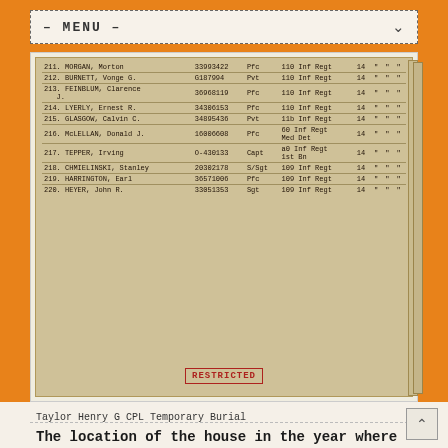– MENU –
[Figure (other): Scanned military burial record card showing entries 211-220 with columns for name, service number, rank, unit, and other details. Entries include: 211 MORGAN Morton, 212 BURNETT Vonge G., 213 FEINBLUM Clarence J., 214 LYERLY Ernest R., 215 GLASGOW Calvin C., 216 McLELLAN Donald J., 217 TEPPER Irving, 218 CHMIELINSKI Stanley, 219 HARRINGTON Earl, 220 HEYER John R. A red RESTRICTED stamp appears at the bottom.]
Taylor Henry G CPL Temporary Burial
The location of the house in the year where Henry G Taylor lived with the family, as an 15 year old